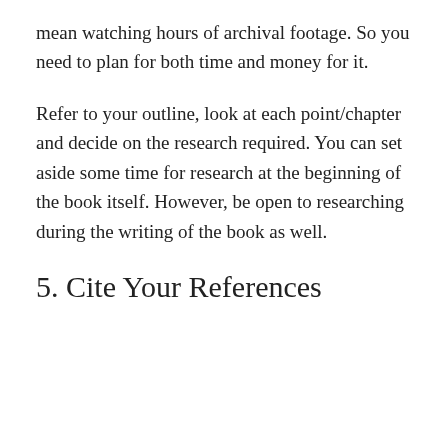mean watching hours of archival footage. So you need to plan for both time and money for it.
Refer to your outline, look at each point/chapter and decide on the research required. You can set aside some time for research at the beginning of the book itself. However, be open to researching during the writing of the book as well.
5. Cite Your References